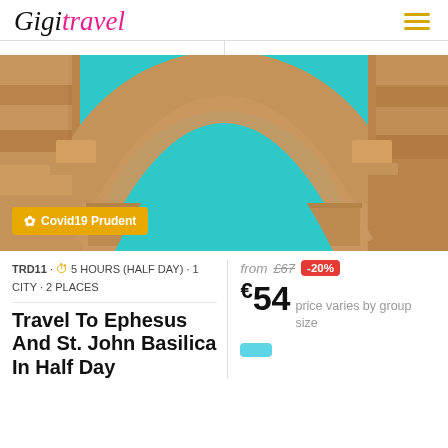[Figure (logo): GigiTravel logo with handwritten/cursive style text. 'Gigi' in black italic and 'travel' in pink italic.]
[Figure (photo): Close-up photo of an ancient Roman stone arch (Ephesus ruins) with ornate carvings against a vivid turquoise/teal blue sky.]
Covid19 Prudent
TRD11 · 5 HOURS (HALF DAY) · 1 CITY · 2 PLACES
from £67 -20%
€54 price varies by group size
Travel To Ephesus And St. John Basilica In Half Day